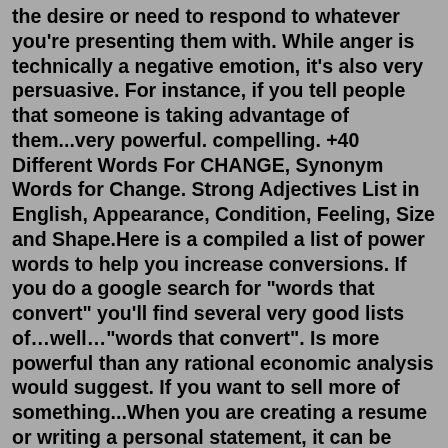the desire or need to respond to whatever you're presenting them with. While anger is technically a negative emotion, it's also very persuasive. For instance, if you tell people that someone is taking advantage of them...very powerful. compelling. +40 Different Words For CHANGE, Synonym Words for Change. Strong Adjectives List in English, Appearance, Condition, Feeling, Size and Shape.Here is a compiled a list of power words to help you increase conversions. If you do a google search for "words that convert" you'll find several very good lists of…well…"words that convert". Is more powerful than any rational economic analysis would suggest. If you want to sell more of something...When you are creating a resume or writing a personal statement, it can be important to include powerful leadership words. Use this list of leadership words to instantly add to your potential. May 24, 2013 · 1. 30 Super Powerful Words to Use In Your Next Public Speech. 2. • Key • Leading • Best • Pioneering •